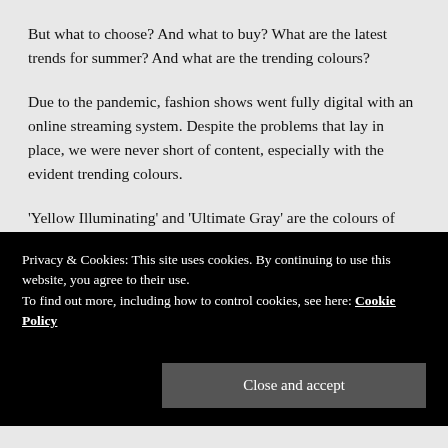But what to choose? And what to buy? What are the latest trends for summer? And what are the trending colours?
Due to the pandemic, fashion shows went fully digital with an online streaming system. Despite the problems that lay in place, we were never short of content, especially with the evident trending colours.
'Yellow Illuminating' and 'Ultimate Gray' are the colours of this year, as mentioned by Pantone Colour Of The Year.
Privacy & Cookies: This site uses cookies. By continuing to use this website, you agree to their use.
To find out more, including how to control cookies, see here: Cookie Policy
Close and accept